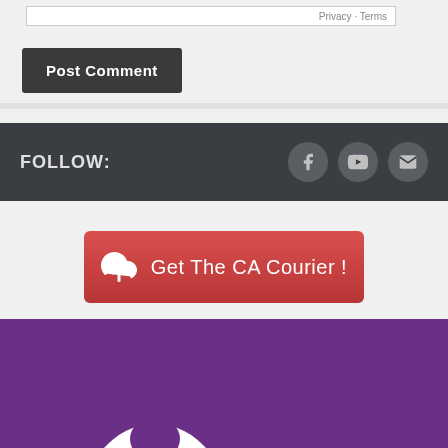[Figure (screenshot): Top of a web page form with a small privacy/terms bar visible at the top]
Post Comment
FOLLOW:
[Figure (infographic): Social media icons: Facebook, YouTube, Email]
[Figure (infographic): Red button with cloud upload icon and text: Get The CA Courier !]
[Figure (illustration): Purple background with white tooth/molar silhouette shapes]